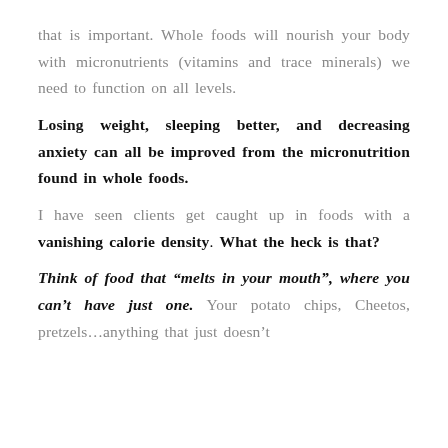that is important. Whole foods will nourish your body with micronutrients (vitamins and trace minerals) we need to function on all levels.
Losing weight, sleeping better, and decreasing anxiety can all be improved from the micronutrition found in whole foods.
I have seen clients get caught up in foods with a vanishing calorie density. What the heck is that?
Think of food that “melts in your mouth”, where you can’t have just one. Your potato chips, Cheetos, pretzels…anything that just doesn’t